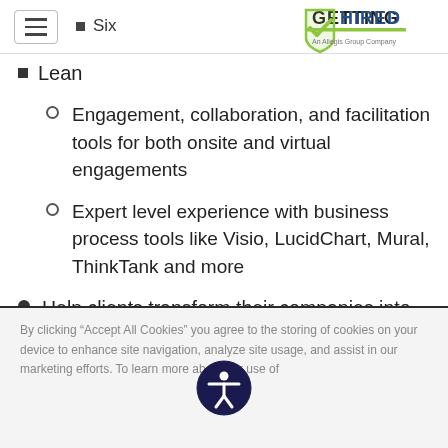Six
[Figure (logo): Getting Hired logo - An Allegis Group Company]
Lean
Engagement, collaboration, and facilitation tools for both onsite and virtual engagements
Expert level experience with business process tools like Visio, LucidChart, Mural, ThinkTank and more
Help clients transform their companies into resilient organizations comfortable with an evolving business model and ambiguity
By clicking “Accept All Cookies” you agree to the storing of cookies on your device to enhance site navigation, analyze site usage, and assist in our marketing efforts. To learn more about our use of